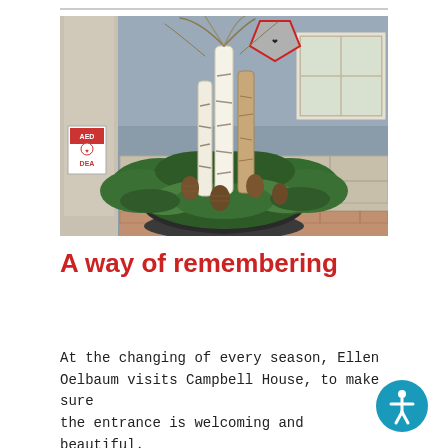[Figure (photo): A winter floral arrangement in a large pot near the entrance of Campbell House. The arrangement includes birch logs, pine cones, and various evergreen branches. An AED/DEA sign is visible on the left, and a brick and siding building exterior is in the background.]
A way of remembering
At the changing of every season, Ellen Oelbaum visits Campbell House, to make sure the entrance is welcoming and beautiful.